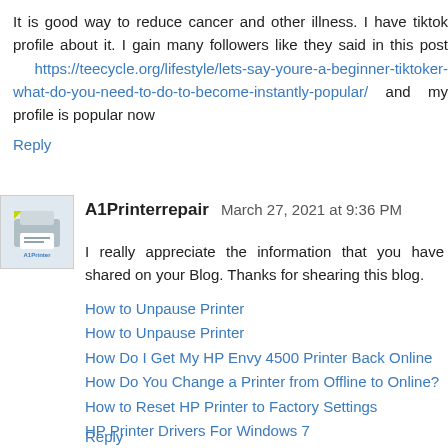It is good way to reduce cancer and other illness. I have tiktok profile about it. I gain many followers like they said in this post https://teecycle.org/lifestyle/lets-say-youre-a-beginner-tiktoker-what-do-you-need-to-do-to-become-instantly-popular/ and my profile is popular now
Reply
A1Printerrepair  March 27, 2021 at 9:36 PM
I really appreciate the information that you have shared on your Blog. Thanks for shearing this blog.
How to Unpause Printer
How to Unpause Printer
How Do I Get My HP Envy 4500 Printer Back Online
How Do You Change a Printer from Offline to Online?
How to Reset HP Printer to Factory Settings
HP Printer Drivers For Windows 7
Computer Recognizes Printer But Not Scanner
How Do I Update My HP Printer Firmware
Reply